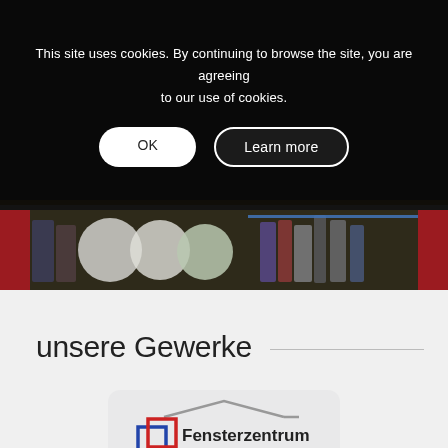This site uses cookies. By continuing to browse the site, you are agreeing to our use of cookies.
OK
Learn more
[Figure (photo): Dark overlay with cookie consent dialog over a blurred photo of store shelves with paint cans and products]
unsere Gewerke
[Figure (logo): Fensterzentrum logo with red and blue overlapping squares icon and text 'Fensterzentrum']